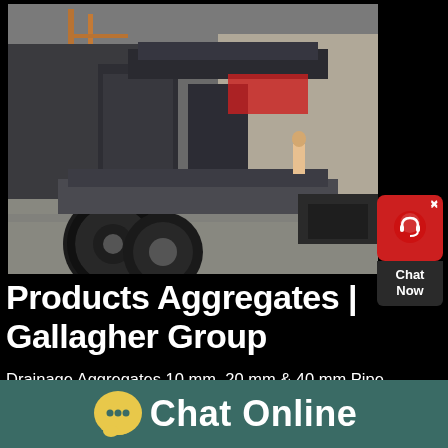[Figure (photo): Industrial/warehouse photo showing heavy equipment, a large truck/trailer with wheels visible in foreground, industrial crane/machinery in background, and a person visible near a red vehicle in the background. Indoor warehouse setting with concrete floor.]
Products Aggregates | Gallagher Group
Drainage Aggregates 10 mm, 20 mm & 40 mm Pipe bedding; Class 6A, 6B & 6C; Type A, Type B & Type C; 40 mm & 75 mm Reject stone; 0/4 mm Reject sand; Gabion Stone 100/200 mm 6G; 40/100 mm; General
[Figure (other): Red chat widget button with headset icon and 'x' close button, with dark gray 'Chat Now' label below]
Chat Online